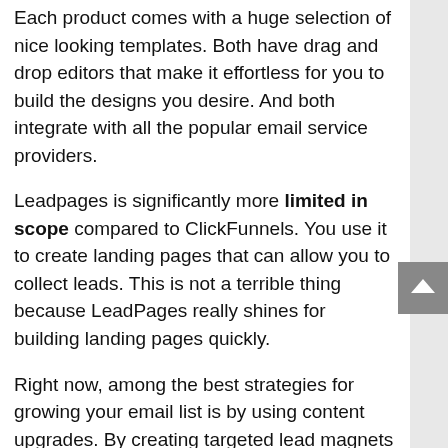Each product comes with a huge selection of nice looking templates. Both have drag and drop editors that make it effortless for you to build the designs you desire. And both integrate with all the popular email service providers.
Leadpages is significantly more limited in scope compared to ClickFunnels. You use it to create landing pages that can allow you to collect leads. This is not a terrible thing because LeadPages really shines for building landing pages quickly.
Right now, among the best strategies for growing your email list is by using content upgrades. By creating targeted lead magnets into your most well-known articles you can acquire opt-in conversion rates that far exceed your typical pop-up.